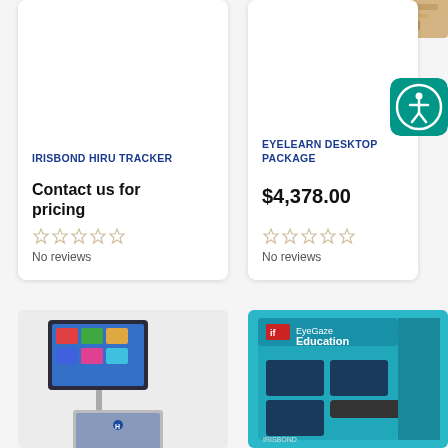[Figure (screenshot): Product image snippet top-right corner showing a metal/golden instrument]
[Figure (illustration): Accessibility icon - person in circle on teal background, top right corner]
IRISBOND HIRU TRACKER
Contact us for pricing
No reviews
EYELEARN DESKTOP PACKAGE
$4,378.00
No reviews
[Figure (photo): Eye tracking device mounted on arm with HP laptop below it]
[Figure (photo): EyeGaze Education product box in blue/teal packaging]